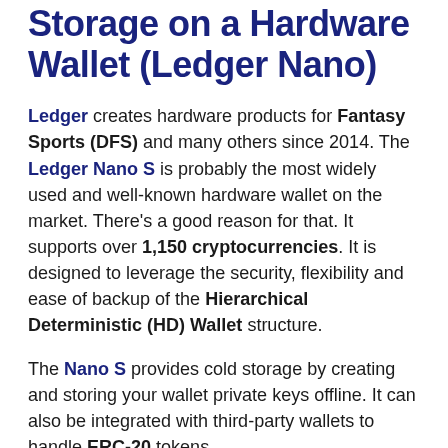Storage on a Hardware Wallet (Ledger Nano)
Ledger creates hardware products for Fantasy Sports (DFS) and many others since 2014. The Ledger Nano S is probably the most widely used and well-known hardware wallet on the market. There's a good reason for that. It supports over 1,150 cryptocurrencies. It is designed to leverage the security, flexibility and ease of backup of the Hierarchical Deterministic (HD) Wallet structure.
The Nano S provides cold storage by creating and storing your wallet private keys offline. It can also be integrated with third-party wallets to handle ERC-20 tokens.